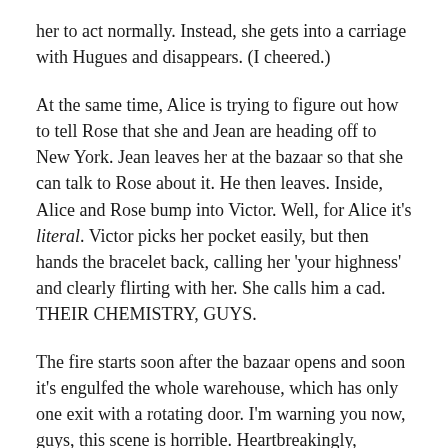her to act normally. Instead, she gets into a carriage with Hugues and disappears. (I cheered.)
At the same time, Alice is trying to figure out how to tell Rose that she and Jean are heading off to New York. Jean leaves her at the bazaar so that she can talk to Rose about it. He then leaves. Inside, Alice and Rose bump into Victor. Well, for Alice it's literal. Victor picks her pocket easily, but then hands the bracelet back, calling her 'your highness' and clearly flirting with her. She calls him a cad. THEIR CHEMISTRY, GUYS.
The fire starts soon after the bazaar opens and soon it's engulfed the whole warehouse, which has only one exit with a rotating door. I'm warning you now, guys, this scene is horrible. Heartbreakingly, devastatingly horrible. A lot of people die in the fire and the scene is hard to